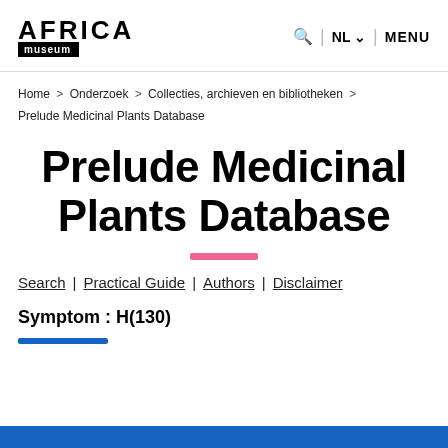AFRICA museum | Q | NL | MENU
Home > Onderzoek > Collecties, archieven en bibliotheken > Prelude Medicinal Plants Database
Prelude Medicinal Plants Database
Search | Practical Guide | Authors | Disclaimer
Symptom : H(130)